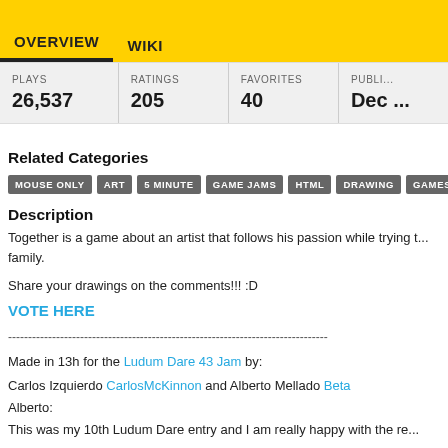OVERVIEW  WIKI
| PLAYS | RATINGS | FAVORITES | PUBLI... |
| --- | --- | --- | --- |
| 26,537 | 205 | 40 | Dec ... |
Related Categories
MOUSE ONLY
ART
5 MINUTE
GAME JAMS
HTML
DRAWING
GAMES OF...
Description
Together is a game about an artist that follows his passion while trying to support his family.
Share your drawings on the comments!!! :D
VOTE HERE
--------------------------------------------------------------------------------
Made in 13h for the Ludum Dare 43 Jam by:
Carlos Izquierdo CarlosMcKinnon and Alberto Mellado Beta
Alberto:
This was my 10th Ludum Dare entry and I am really happy with the re...